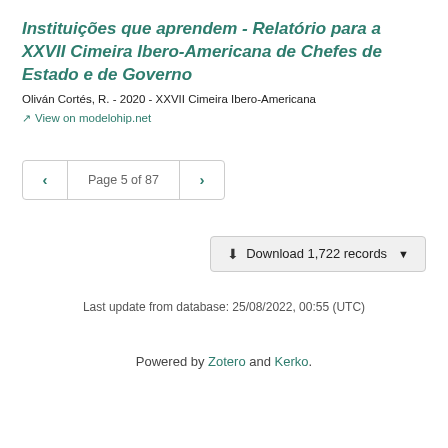Instituições que aprendem - Relatório para a XXVII Cimeira Ibero-Americana de Chefes de Estado e de Governo
Oliván Cortés, R. - 2020 - XXVII Cimeira Ibero-Americana
View on modelohip.net
Page 5 of 87
Download 1,722 records
Last update from database: 25/08/2022, 00:55 (UTC)
Powered by Zotero and Kerko.